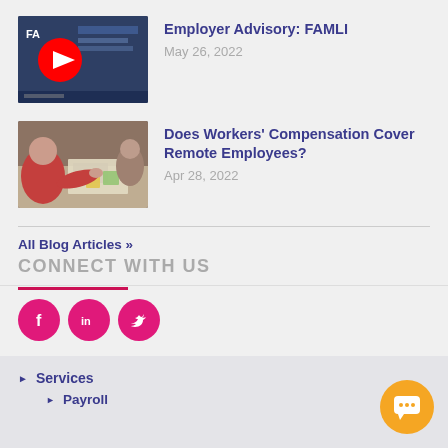[Figure (screenshot): YouTube video thumbnail for Employer Advisory: FAMLI with red YouTube play button overlay]
Employer Advisory: FAMLI
May 26, 2022
[Figure (photo): Photo of people working together at a table with papers and sticky notes]
Does Workers' Compensation Cover Remote Employees?
Apr 28, 2022
All Blog Articles »
CONNECT WITH US
[Figure (illustration): Social media icon buttons: Facebook, LinkedIn, Twitter in pink/magenta circles]
Services
Payroll